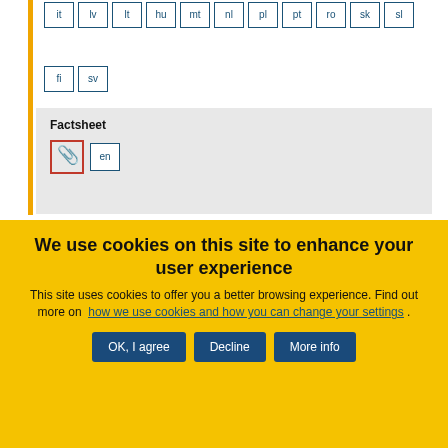it lv lt hu mt nl pl pt ro sk sl
fi sv
Factsheet
[Figure (other): PDF icon with red border and 'en' language button]
We use cookies on this site to enhance your user experience
This site uses cookies to offer you a better browsing experience. Find out more on how we use cookies and how you can change your settings .
OK, I agree   Decline   More info